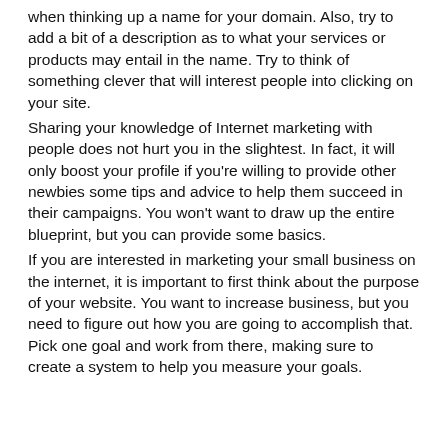when thinking up a name for your domain. Also, try to add a bit of a description as to what your services or products may entail in the name. Try to think of something clever that will interest people into clicking on your site.
Sharing your knowledge of Internet marketing with people does not hurt you in the slightest. In fact, it will only boost your profile if you're willing to provide other newbies some tips and advice to help them succeed in their campaigns. You won't want to draw up the entire blueprint, but you can provide some basics.
If you are interested in marketing your small business on the internet, it is important to first think about the purpose of your website. You want to increase business, but you need to figure out how you are going to accomplish that. Pick one goal and work from there, making sure to create a system to help you measure your goals.